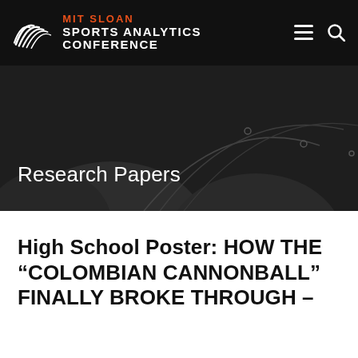MIT SLOAN SPORTS ANALYTICS CONFERENCE
Research Papers
High School Poster: HOW THE “COLOMBIAN CANNONBALL” FINALLY BROKE THROUGH –